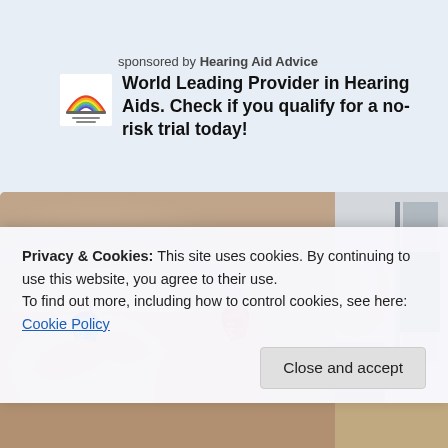sponsored by Hearing Aid Advice
World Leading Provider in Hearing Aids. Check if you qualify for a no-risk trial today!
[Figure (photo): Two hands holding small Signia hearing aids - one blue, one red - with thin wire antennas, shown close-up against a blurred background]
[Figure (photo): Partial side view of a person with grey hair in an office setting]
Privacy & Cookies: This site uses cookies. By continuing to use this website, you agree to their use.
To find out more, including how to control cookies, see here: Cookie Policy
Close and accept